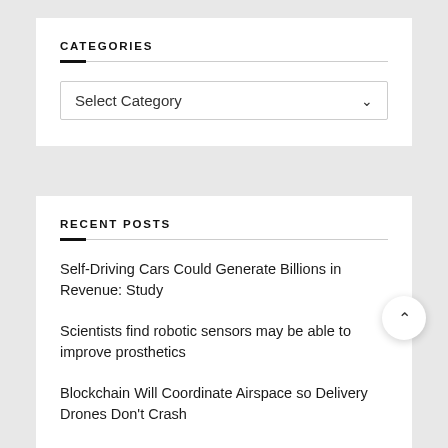CATEGORIES
Select Category
RECENT POSTS
Self-Driving Cars Could Generate Billions in Revenue: Study
Scientists find robotic sensors may be able to improve prosthetics
Blockchain Will Coordinate Airspace so Delivery Drones Don't Crash
How a Humanoid Robot Is Helping Scientists Explore